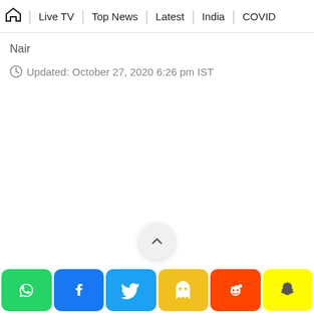🏠 | Live TV | Top News | Latest | India | COVID
Nair
Updated: October 27, 2020 6:26 pm IST
[Figure (other): Scroll to top button — circular grey button with upward chevron arrow]
[Figure (other): Social share bar with buttons: WhatsApp (green), Facebook (blue), Twitter (light blue), Ghost/Quora (yellow), Reddit (orange-red), Snapchat (yellow)]